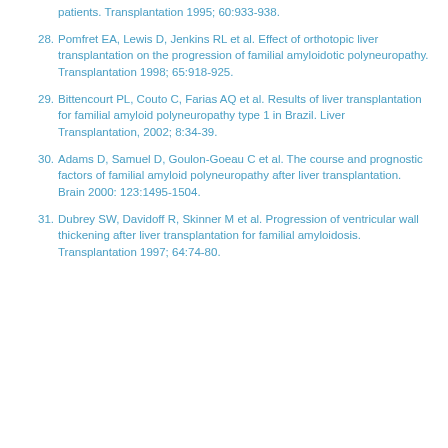patients. Transplantation 1995; 60:933-938.
28. Pomfret EA, Lewis D, Jenkins RL et al. Effect of orthotopic liver transplantation on the progression of familial amyloidotic polyneuropathy. Transplantation 1998; 65:918-925.
29. Bittencourt PL, Couto C, Farias AQ et al. Results of liver transplantation for familial amyloid polyneuropathy type 1 in Brazil. Liver Transplantation, 2002; 8:34-39.
30. Adams D, Samuel D, Goulon-Goeau C et al. The course and prognostic factors of familial amyloid polyneuropathy after liver transplantation. Brain 2000: 123:1495-1504.
31. Dubrey SW, Davidoff R, Skinner M et al. Progression of ventricular wall thickening after liver transplantation for familial amyloidosis. Transplantation 1997; 64:74-80.